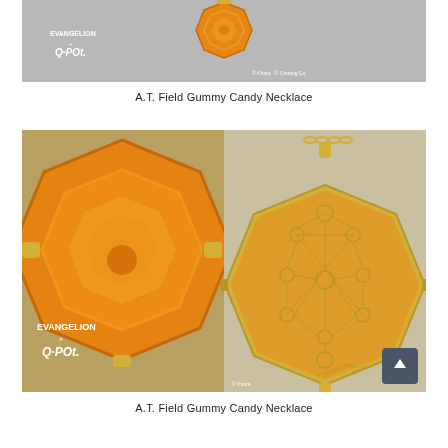[Figure (photo): Top product photo: A.T. Field Gummy Candy Necklace showing orange octagonal gummy-shaped necklace on grey background, with EVANGELION + Q-Pot. logo overlay and copyright text]
A.T. Field Gummy Candy Necklace
[Figure (photo): Bottom product photos: Two close-up shots side by side - left shows orange/yellow gummy candy close-up detail with gold clasp hardware, right shows back of octagonal gold locket with Kabbalistic Tree of Life engraving on gold chain, with EVANGELION + Q-Pot. logo and scroll-to-top button overlay]
A.T. Field Gummy Candy Necklace